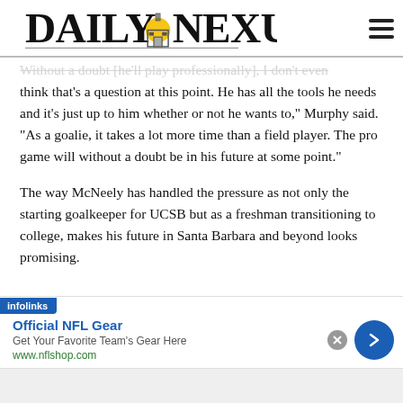DAILY NEXUS
Without a doubt [he'll play professionally], I don't even think that's a question at this point. He has all the tools he needs and it's just up to him whether or not he wants to," Murphy said. "As a goalie, it takes a lot more time than a field player. The pro game will without a doubt be in his future at some point."
The way McNeely has handled the pressure as not only the starting goalkeeper for UCSB but as a freshman transitioning to college, makes his future in Santa Barbara and beyond looks promising.
[Figure (other): infolinks advertisement for Official NFL Gear - Get Your Favorite Team's Gear Here - www.nflshop.com]